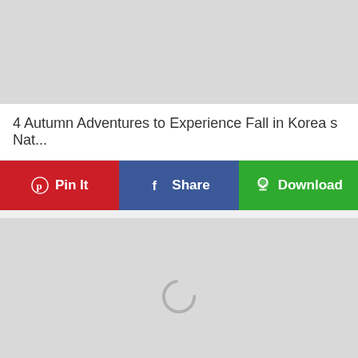[Figure (photo): Top image placeholder - gray rectangle]
4 Autumn Adventures to Experience Fall in Korea s Nat...
[Figure (screenshot): Action bar with Pin It, Share, and Download buttons]
[Figure (photo): Main image placeholder with loading spinner - gray rectangle]
Naojangsan National Park (내장산) KLIMBING KOREAN M